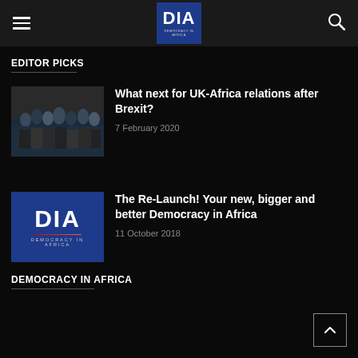DIA DEMOCRACY IN AFRICA
EDITOR PICKS
[Figure (photo): Group photo of African leaders and UK officials at a summit]
What next for UK-Africa relations after Brexit?
7 February 2020
[Figure (logo): DIA Democracy in Africa logo on dark blue background]
The Re-Launch! Your new, bigger and better Democracy in Africa
11 October 2018
DEMOCRACY IN AFRICA